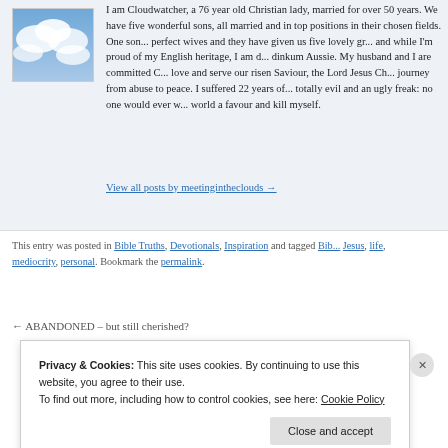[Figure (photo): Small avatar image showing blue sky with clouds]
I am Cloudwatcher, a 76 year old Christian lady, married for over 50 years. We have five wonderful sons, all married and in top positions in their chosen fields. One son... perfect wives and they have given us five lovely gr... and while I'm proud of my English heritage, I am d... dinkum Aussie. My husband and I are committed C... love and serve our risen Saviour, the Lord Jesus Ch... journey from abuse to peace. I suffered 22 years of... totally evil and an ugly freak: no one would ever w... world a favour and kill myself.
View all posts by meetingintheclouds →
This entry was posted in Bible Truths, Devotionals, Inspiration and tagged Bib... Jesus, life, mediocrity, personal. Bookmark the permalink.
← ABANDONED – but still cherished?
Privacy & Cookies: This site uses cookies. By continuing to use this website, you agree to their use.
To find out more, including how to control cookies, see here: Cookie Policy
Close and accept